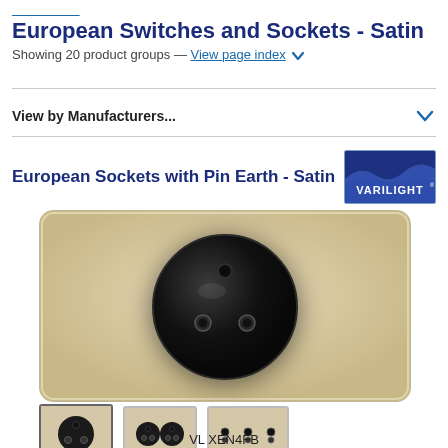European Switches and Sockets - Satin
European Switches and Sockets - Satin
Showing 20 product groups — View page index ▾
View by Manufacturers...
European Sockets with Pin Earth - Satin
[Figure (photo): European electrical socket with pin earth in satin champagne finish, showing a square plate with a round black socket module with a top earth pin and two bottom contact pins]
[Figure (photo): Three thumbnail images of the product showing single, double and triple socket variants]
VL XEN4FB